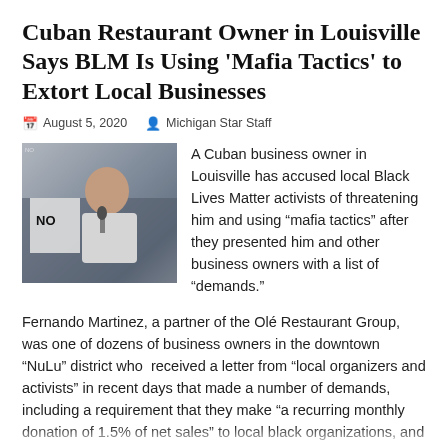Cuban Restaurant Owner in Louisville Says BLM Is Using ‘Mafia Tactics’ to Extort Local Businesses
August 5, 2020   Michigan Star Staff
[Figure (photo): A man speaking at a protest, holding a sign partially visible with 'NO' text, crowd in background]
A Cuban business owner in Louisville has accused local Black Lives Matter activists of threatening him and using “mafia tactics” after they presented him and other business owners with a list of “demands.”
Fernando Martinez, a partner of the Olé Restaurant Group, was one of dozens of business owners in the downtown “NuLu” district who  received a letter from “local organizers and activists” in recent days that made a number of demands, including a requirement that they make “a recurring monthly donation of 1.5% of net sales” to local black organizations, and that they display a sign that shows support for “the reparations